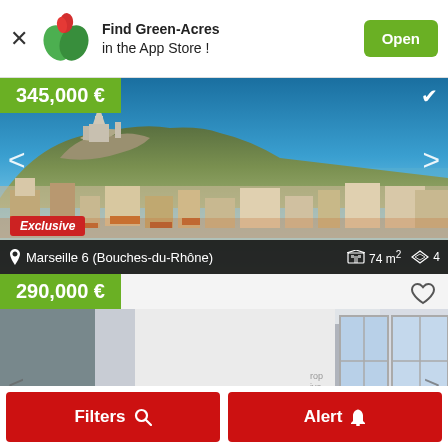[Figure (screenshot): App Store banner with Green-Acres logo, 'Find Green-Acres in the App Store!' text, and Open button]
[Figure (photo): Real estate listing photo showing Marseille cityscape with Notre-Dame de la Garde basilica on hill, price 345,000 €, location Marseille 6 (Bouches-du-Rhône), 74 m², Exclusive badge]
[Figure (photo): Real estate listing photo showing modern interior room, price 290,000 €]